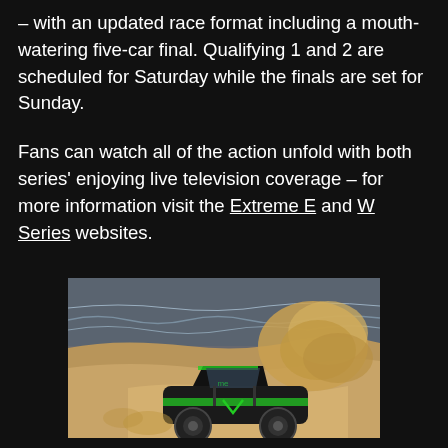– with an updated race format including a mouth-watering five-car final. Qualifying 1 and 2 are scheduled for Saturday while the finals are set for Sunday.
Fans can watch all of the action unfold with both series' enjoying live television coverage – for more information visit the Extreme E and W Series websites.
[Figure (photo): A green and black off-road electric race car kicking up a large cloud of sand/dust on a beach, with ocean waves visible in the background under an overcast sky.]